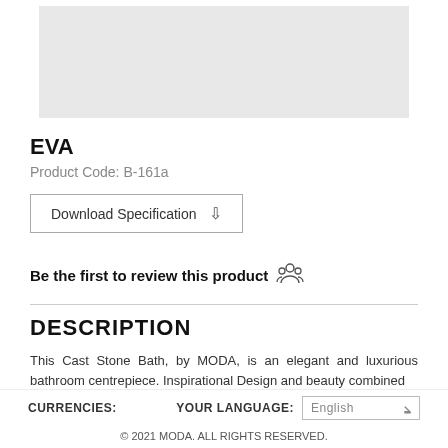[Figure (photo): Gray placeholder image area for product photo]
EVA
Product Code: B-161a
Download Specification
Be the first to review this product
DESCRIPTION
This Cast Stone Bath, by MODA, is an elegant and luxurious bathroom centrepiece. Inspirational Design and beauty combined
CURRENCIES:   YOUR LANGUAGE: English   © 2021 MODA. ALL RIGHTS RESERVED.